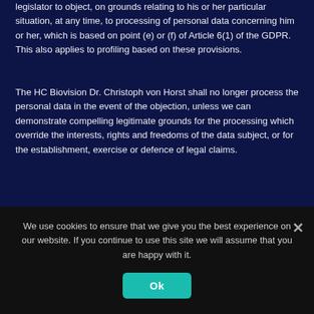legislator to object, on grounds relating to his or her particular situation, at any time, to processing of personal data concerning him or her, which is based on point (e) or (f) of Article 6(1) of the GDPR. This also applies to profiling based on these provisions.
The HC Biovision Dr. Christoph von Horst shall no longer process the personal data in the event of the objection, unless we can demonstrate compelling legitimate grounds for the processing which override the interests, rights and freedoms of the data subject, or for the establishment, exercise or defence of legal claims.
If the HC Biovision Dr. Christoph von Horst processes personal data for direct marketing purposes, the data subject shall have the right to object at any time to processing of personal data concerning him or her for such marketing. This applies to profiling to the extent that it is related to such direct marketing. If the data
We use cookies to ensure that we give you the best experience on our website. If you continue to use this site we will assume that you are happy with it.
Ok